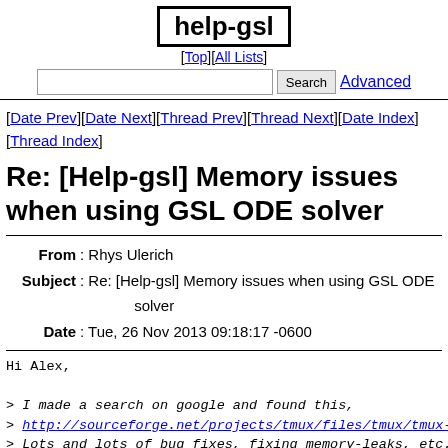help-gsl
[Top][All Lists]
Search  Advanced
[Date Prev][Date Next][Thread Prev][Thread Next][Date Index][Thread Index]
Re: [Help-gsl] Memory issues when using GSL ODE solver
From: Rhys Ulerich
Subject: Re: [Help-gsl] Memory issues when using GSL ODE solver
Date: Tue, 26 Nov 2013 09:18:17 -0600
Hi Alex,

> I made a search on google and found this,
> http://sourceforge.net/projects/tmux/files/tmux/tmux-1...
> Lots and lots of bug fixes, fixing memory-leaks, etc."
> version. I decided to give it a try since after all it
> useful thing. So, I updated from tmux 1.6 to tmux 1.8...